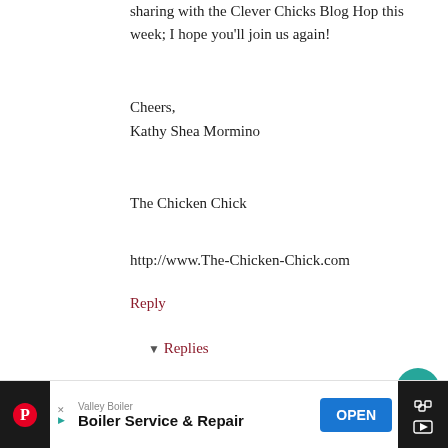sharing with the Clever Chicks Blog Hop this week; I hope you'll join us again!
Cheers,
Kathy Shea Mormino
The Chicken Chick
http://www.The-Chicken-Chick.com
Reply
▾ Replies
Kirsten  June 1, 2013 at 4:26 AM
Kathy,
I love the concept of rolling whatever into sushi, and that concept is definitely a keeper.
Thanks for hosting!
Valley Boiler
Boiler Service & Repair
OPEN